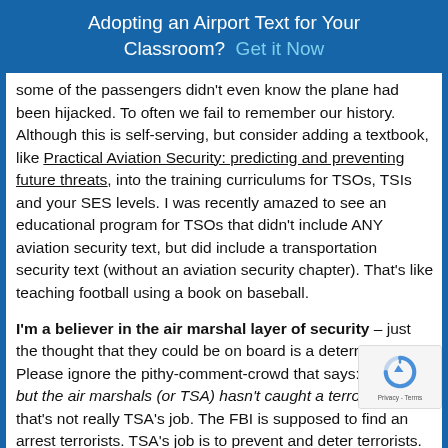Adopting an Airport Text for Your Classroom? Get it Now
some of the passengers didn't even know the plane had been hijacked. To often we fail to remember our history. Although this is self-serving, but consider adding a textbook, like Practical Aviation Security: predicting and preventing future threats, into the training curriculums for TSOs, TSIs and your SES levels. I was recently amazed to see an educational program for TSOs that didn't include ANY aviation security text, but did include a transportation security text (without an aviation security chapter). That's like teaching football using a book on baseball.
I'm a believer in the air marshal layer of security – just the thought that they could be on board is a deterrent factor. Please ignore the pithy-comment-crowd that says: but the air marshals (or TSA) hasn't caught a terrorist yet; that's not really TSA's job. The FBI is supposed to find and arrest terrorists. TSA's job is to prevent and deter terrorists. If a